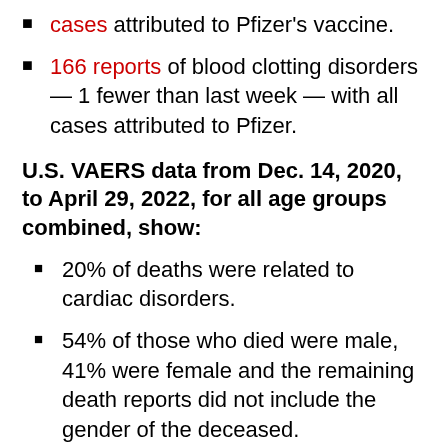cases attributed to Pfizer's vaccine.
166 reports of blood clotting disorders — 1 fewer than last week — with all cases attributed to Pfizer.
U.S. VAERS data from Dec. 14, 2020, to April 29, 2022, for all age groups combined, show:
20% of deaths were related to cardiac disorders.
54% of those who died were male, 41% were female and the remaining death reports did not include the gender of the deceased.
The average age of death was 73.
As of April 29, 5,480 pregnant